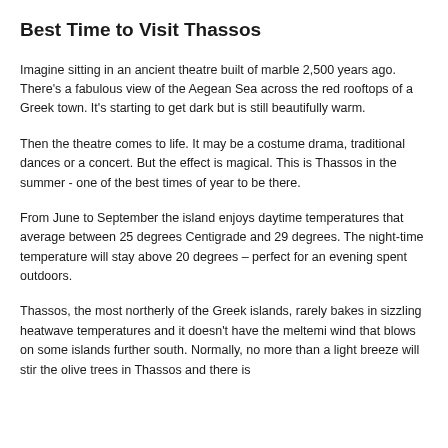Best Time to Visit Thassos
Imagine sitting in an ancient theatre built of marble 2,500 years ago. There’s a fabulous view of the Aegean Sea across the red rooftops of a Greek town. It’s starting to get dark but is still beautifully warm.
Then the theatre comes to life. It may be a costume drama, traditional dances or a concert. But the effect is magical. This is Thassos in the summer - one of the best times of year to be there.
From June to September the island enjoys daytime temperatures that average between 25 degrees Centigrade and 29 degrees. The night-time temperature will stay above 20 degrees – perfect for an evening spent outdoors.
Thassos, the most northerly of the Greek islands, rarely bakes in sizzling heatwave temperatures and it doesn’t have the meltemi wind that blows on some islands further south. Normally, no more than a light breeze will stir the olive trees in Thassos and there is